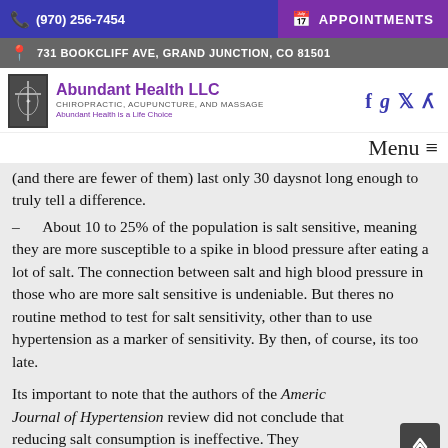(970) 256-7454 | APPOINTMENTS
731 BOOKCLIFF AVE, GRAND JUNCTION, CO 81501
Abundant Health LLC — Chiropractic, Acupuncture, and Massage — Abundant Health is a Life Choice
(and there are fewer of them) last only 30 daysnot long enough to truly tell a difference.
– About 10 to 25% of the population is salt sensitive, meaning they are more susceptible to a spike in blood pressure after eating a lot of salt. The connection between salt and high blood pressure in those who are more salt sensitive is undeniable. But theres no routine method to test for salt sensitivity, other than to use hypertension as a marker of sensitivity. By then, of course, its too late.
Its important to note that the authors of the American Journal of Hypertension review did not conclude that reducing salt consumption is ineffective. They